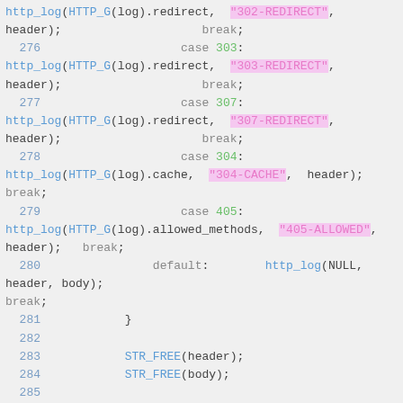[Figure (screenshot): Source code snippet showing C code with HTTP status code handling using switch/case statements, lines 276-288. Syntax highlighted with blue functions, pink strings, green numbers, gray keywords.]